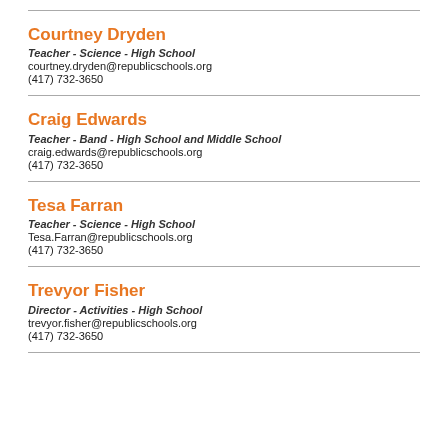Courtney Dryden
Teacher - Science - High School
courtney.dryden@republicschools.org
(417) 732-3650
Craig Edwards
Teacher - Band - High School and Middle School
craig.edwards@republicschools.org
(417) 732-3650
Tesa Farran
Teacher - Science - High School
Tesa.Farran@republicschools.org
(417) 732-3650
Trevyor Fisher
Director - Activities - High School
trevyor.fisher@republicschools.org
(417) 732-3650